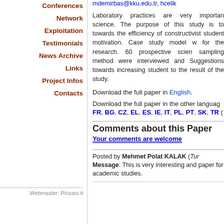Conferences
Network
Exploitation
Testimonials
News Archive
Links
Project Infos
Contacts
Webmaster: Pinzani.it
mdemirbas@kku.edu.tr, hcelik
Laboratory practices are very important science. The purpose of this study is to towards the efficiency of constructivist student motivation. Case study model w for the research. 60 prospective scien sampling method were interviewed and Suggestions towards increasing student to the result of the study.
Download the full paper in English.
Download the full paper in the other language FR, BG, CZ, EL, ES, IE, IT, PL, PT, SK, TR (
Comments about this Paper
Your comments are welcome
Posted by Mehmet Polat KALAK (Tur
Message: This is very interesting and paper for academic studies.